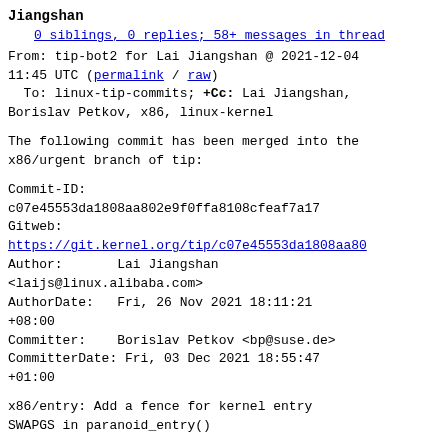Jiangshan
0 siblings, 0 replies; 58+ messages in thread
From: tip-bot2 for Lai Jiangshan @ 2021-12-04 11:45 UTC (permalink / raw)
  To: linux-tip-commits; +Cc: Lai Jiangshan, Borislav Petkov, x86, linux-kernel
The following commit has been merged into the x86/urgent branch of tip:
Commit-ID:
c07e45553da1808aa802e9f0ffa8108cfeaf7a17
Gitweb:
https://git.kernel.org/tip/c07e45553da1808aa80
Author:       Lai Jiangshan <laijs@linux.alibaba.com>
AuthorDate:   Fri, 26 Nov 2021 18:11:21 +08:00
Committer:    Borislav Petkov <bp@suse.de>
CommitterDate: Fri, 03 Dec 2021 18:55:47 +01:00
x86/entry: Add a fence for kernel entry SWAPGS in paranoid_entry()
Commit

  18ec54fdd6d18 ("x86/speculation: Prepare entry code for Spectre v1 swapgs